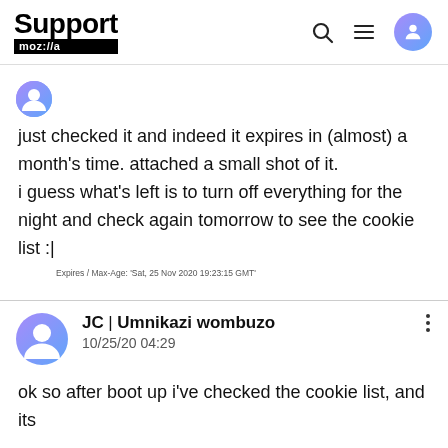Support mozilla | search menu user icons
just checked it and indeed it expires in (almost) a month's time. attached a small shot of it.
i guess what's left is to turn off everything for the night and check again tomorrow to see the cookie list :|
Expires / Max-Age: 'Sat, 25 Nov 2020 19:23:15 GMT'
JC | Umnikazi wombuzo
10/25/20 04:29
ok so after boot up i've checked the cookie list, and its